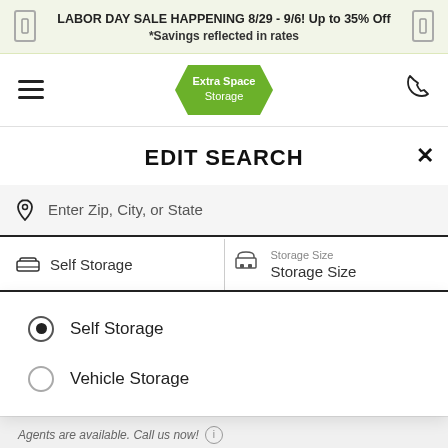LABOR DAY SALE HAPPENING 8/29 - 9/6! Up to 35% Off
*Savings reflected in rates
[Figure (logo): Extra Space Storage logo on green badge/hexagon shape]
EDIT SEARCH
Enter Zip, City, or State
Self Storage
Storage Size
Storage Size
Self Storage (selected radio button)
Vehicle Storage (unselected radio button)
Agents are available. Call us now!
Current Customer:
(612) 404-0481
New Customer: •